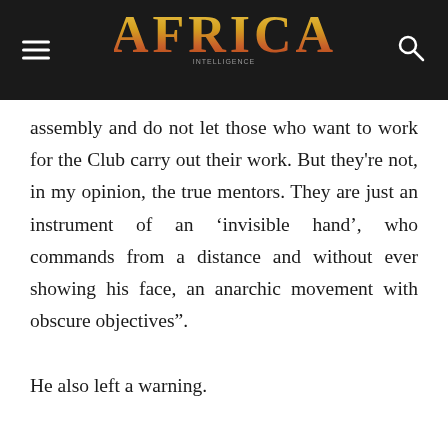AFRICA
assembly and do not let those who want to work for the Club carry out their work. But they’re not, in my opinion, the true mentors. They are just an instrument of an ‘invisible hand’, who commands from a distance and without ever showing his face, an anarchic movement with obscure objectives”.
He also left a warning.